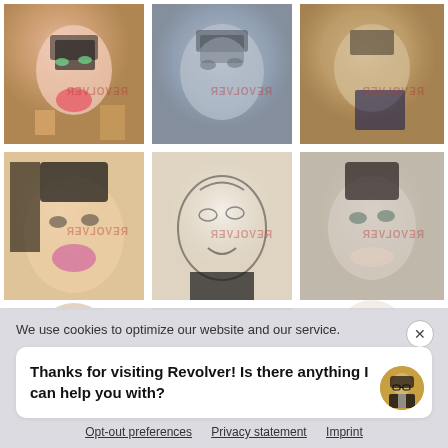[Figure (illustration): 3x3 grid of Andy Warhol-style Mick Jagger portrait prints, partially visible in the top portion of the page. Nine cells showing pop-art style portraits with various color schemes — pink/gold, grey tones, tan/navy, tan/pink, white line art, grey, dark/purple, black, and soft grey/green.]
We use cookies to optimize our website and our service.
Thanks for visiting Revolver! Is there anything I can help you with?
Opt-out preferences   Privacy statement   Imprint